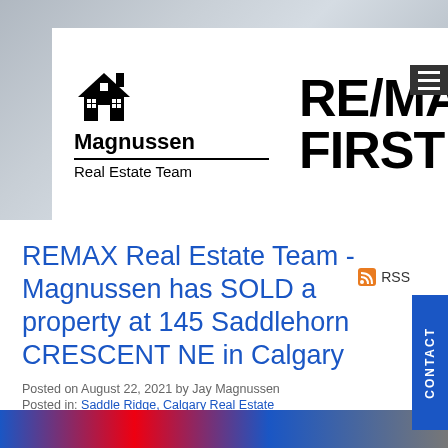[Figure (logo): Magnussen Real Estate Team and RE/MAX FIRST logo on white card over blurred room background]
REMAX Real Estate Team - Magnussen has SOLD a property at 145 Saddlehorn CRESCENT NE in Calgary
Posted on August 22, 2021 by Jay Magnussen
Posted in: Saddle Ridge, Calgary Real Estate